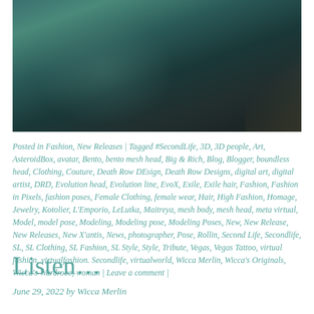[Figure (photo): A dark-toned photograph of a person in teal/dark clothing, appearing to be a Second Life avatar or digital art figure]
Posted in Fashion, New Releases | Tagged #SecondLife, 3D, 3D people, Art, AsteroidBox, avatar, Bento, bento mesh head, Big & Rich, Blog, Blogger, boundless head, Clothing, Couture, Death Row DEsign, Death Row Designs, digital art, digital artist, DRD, Evolution head, Evolution line, EvoX, Exile, Exile hair, Fashion, Fashion in Pixels, fashion poses, Female Clothing, female wear, Hair, High Fashion, Homage, Jewelry, Kotolier, L'Emporio, LeLutka, Maitreya, mesh body, mesh head, meta virtual, Model, model pose, Modeling, Modeling pose, Modeling Poses, New, New Release, New Releases, New X'antis, News, photographer, Pose, Rollin, Second Life, Secondlife, SL, SL Clothing, SL Fashion, SL Style, Style, Tribute, Vegas, Vegas Tattoo, virtual fashion, virtualfashion. Secondlife, virtualworld, Wicca Merlin, Wicca's Originals, Wicca's Wardrobe, woman | Leave a comment |
Listen…
June 29, 2022 by Wicca Merlin